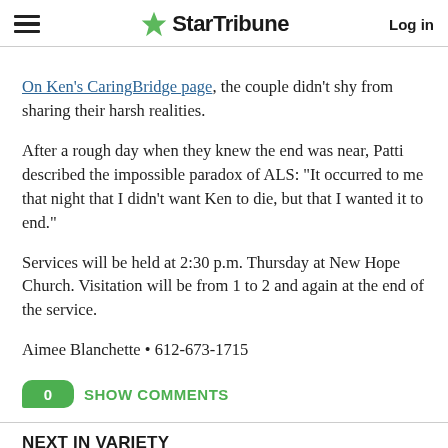StarTribune  Log in
On Ken’s CaringBridge page, the couple didn’t shy from sharing their harsh realities.
After a rough day when they knew the end was near, Patti described the impossible paradox of ALS: “It occurred to me that night that I didn’t want Ken to die, but that I wanted it to end.”
Services will be held at 2:30 p.m. Thursday at New Hope Church. Visitation will be from 1 to 2 and again at the end of the service.
Aimee Blanchette • 612-673-1715
0  SHOW COMMENTS
NEXT IN VARIETY